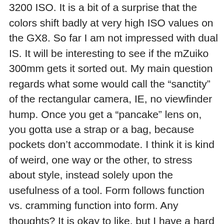were a sorry excuse for noise at 1600 and 3200 ISO. It is a bit of a surprise that the colors shift badly at very high ISO values on the GX8. So far I am not impressed with dual IS. It will be interesting to see if the mZuiko 300mm gets it sorted out. My main question regards what some would call the “sanctity” of the rectangular camera, IE, no viewfinder hump. Once you get a “pancake” lens on, you gotta use a strap or a bag, because pockets don’t accommodate. I think it is kind of weird, one way or the other, to stress about style, instead solely upon the usefulness of a tool. Form follows function vs. cramming function into form. Any thoughts? It is okay to like, but I have a hard time with “better” arguments.